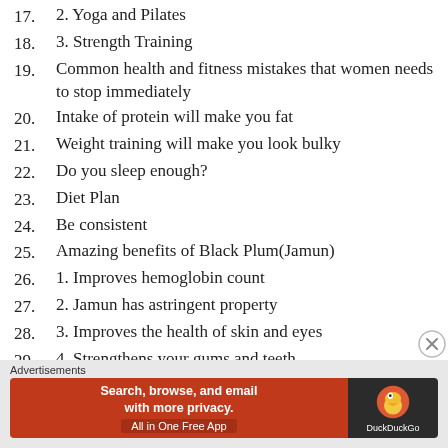17. 2. Yoga and Pilates
18. 3. Strength Training
19. Common health and fitness mistakes that women needs to stop immediately
20. Intake of protein will make you fat
21. Weight training will make you look bulky
22. Do you sleep enough?
23. Diet Plan
24. Be consistent
25. Amazing benefits of Black Plum(Jamun)
26. 1. Improves hemoglobin count
27. 2. Jamun has astringent property
28. 3. Improves the health of skin and eyes
29. 4. Strengthens your gums and teeth
[Figure (screenshot): DuckDuckGo advertisement banner: orange left section with text 'Search, browse, and email with more privacy. All in One Free App', dark right section with DuckDuckGo duck logo and brand name.]